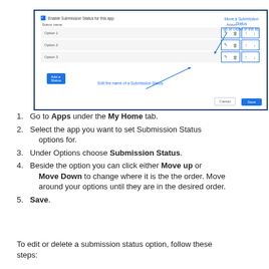[Figure (screenshot): Screenshot of a Submission Status configuration panel showing a table with three status options (Option 1, Option 2, Option 3), each with edit, delete, move-up, and move-down action buttons. Two callout annotations in blue text: 'Move a Submission Status up or Down in the list' pointing to the up/down buttons, and 'Edit the name of a Submission Status' pointing to the edit icon. Bottom-right has Cancel and Save buttons.]
Go to Apps under the My Home tab.
Select the app you want to set Submission Status options for.
Under Options choose Submission Status.
Beside the option you can click either Move up or Move Down to change where it is the the order. Move around your options until they are in the desired order.
Save.
To edit or delete a submission status option, follow these steps: